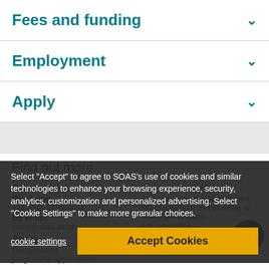Fees and funding
Employment
Apply
Find out more
Contact us
By phone:
Got a question?
If you still have questions
Select "Accept" to agree to SOAS's use of cookies and similar technologies to enhance your browsing experience, security, analytics, customization and personalized advertising. Select "Cookie Settings" to make more granular choices.
cookie settings
Accept Cookies
Apply
Postgraduate
programme applications